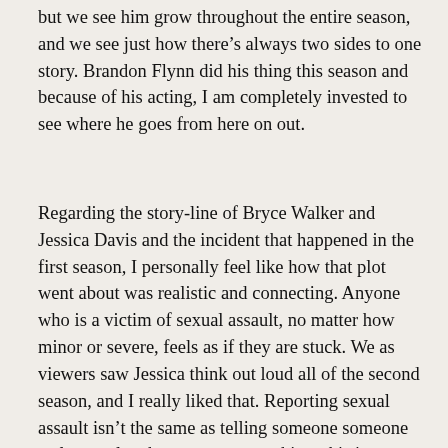but we see him grow throughout the entire season, and we see just how there's always two sides to one story. Brandon Flynn did his thing this season and because of his acting, I am completely invested to see where he goes from here on out.
Regarding the story-line of Bryce Walker and Jessica Davis and the incident that happened in the first season, I personally feel like how that plot went about was realistic and connecting. Anyone who is a victim of sexual assault, no matter how minor or severe, feels as if they are stuck. We as viewers saw Jessica think out loud all of the second season, and I really liked that. Reporting sexual assault isn't the same as telling someone someone stole your lunch money or something; this is opening up about something that personally affects you and the way you'll live your life, and the fact that half these women who are